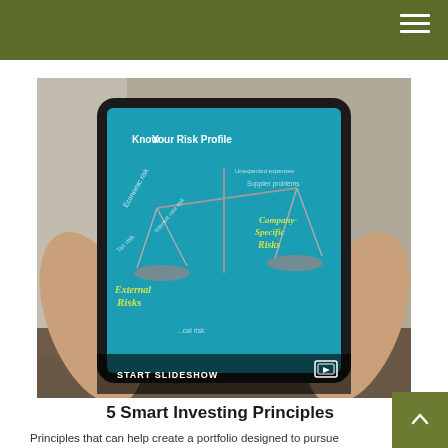[Figure (photo): A person holding a tablet displaying a 'Know Your Risk Profile' infographic on a teal background, showing a balance scale with 'External Risks' (Economic risk, Interest rate risk, Tax risk) on one side and 'Company-Specific Risks' (Supplier problems, Management problems) on the other. A 'START SLIDESHOW' bar is at the bottom.]
5 Smart Investing Principles
Principles that can help create a portfolio designed to pursue